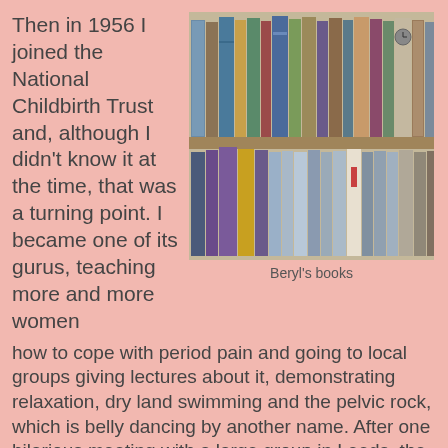Then in 1956 I joined the National Childbirth Trust and, although I didn't know it at the time, that was a turning point. I became one of its gurus, teaching more and more women
[Figure (photo): A photograph of two shelves of books, Beryl's books, with colorful spines packed closely together.]
Beryl's books
how to cope with period pain and going to local groups giving lectures about it, demonstrating relaxation, dry land swimming and the pelvic rock, which is belly dancing by another name. After one hilarious meeting with a large group in Leeds, the secretary phoned to ask whether I could write them a leaflet detailing all the things I'd been talking about. 'We know it was good,' she said, 'but you went at a hundred miles an hour and it was so funny and now we can't remember half of it.' I said I would but then discovered I had